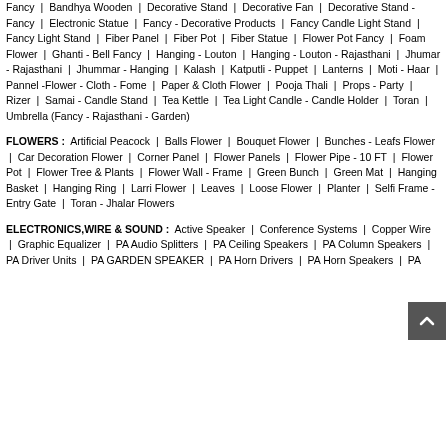Fancy | Bandhya Wooden | Decorative Stand | Decorative Fan | Decorative Stand - Fancy | Electronic Statue | Fancy - Decorative Products | Fancy Candle Light Stand | Fancy Light Stand | Fiber Panel | Fiber Pot | Fiber Statue | Flower Pot Fancy | Foam Flower | Ghanti - Bell Fancy | Hanging - Louton | Hanging - Louton - Rajasthani | Jhumar - Rajasthani | Jhummar - Hanging | Kalash | Katputli - Puppet | Lanterns | Moti - Haar | Pannel -Flower - Cloth - Fome | Paper & Cloth Flower | Pooja Thali | Props - Party | Rizer | Samai - Candle Stand | Tea Kettle | Tea Light Candle - Candle Holder | Toran | Umbrella (Fancy - Rajasthani - Garden)
FLOWERS : Artificial Peacock | Balls Flower | Bouquet Flower | Bunches - Leafs Flower | Car Decoration Flower | Corner Panel | Flower Panels | Flower Pipe - 10 FT | Flower Pot | Flower Tree & Plants | Flower Wall - Frame | Green Bunch | Green Mat | Hanging Basket | Hanging Ring | Larri Flower | Leaves | Loose Flower | Planter | Selfi Frame - Entry Gate | Toran - Jhalar Flowers
ELECTRONICS,WIRE & SOUND : Active Speaker | Conference Systems | Copper Wire | Graphic Equalizer | PA Audio Splitters | PA Ceiling Speakers | PA Column Speakers | PA Driver Units | PA GARDEN SPEAKER | PA Horn Drivers | PA Horn Speakers | PA